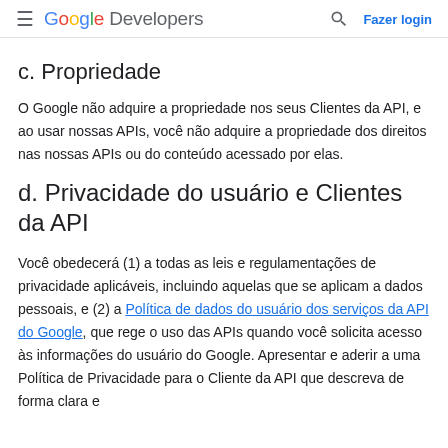Google Developers — Fazer login
c. Propriedade
O Google não adquire a propriedade nos seus Clientes da API, e ao usar nossas APIs, você não adquire a propriedade dos direitos nas nossas APIs ou do conteúdo acessado por elas.
d. Privacidade do usuário e Clientes da API
Você obedecerá (1) a todas as leis e regulamentações de privacidade aplicáveis, incluindo aquelas que se aplicam a dados pessoais, e (2) a Política de dados do usuário dos serviços da API do Google, que rege o uso das APIs quando você solicita acesso às informações do usuário do Google. Apresentar e aderir a uma Política de Privacidade para o Cliente da API que descreva de forma clara e